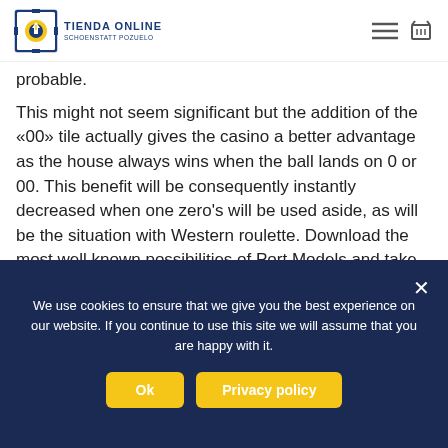TIENDA ONLINE SCHOENSTATT POZUELO
probable.
This might not seem significant but the addition of the «00» tile actually gives the casino a better advantage as the house always wins when the ball lands on 0 or 00. This benefit will be consequently instantly decreased when one zero's will be used aside, as will be the situation with Western roulette. Download the most well known possibilities of Port Models and take up 100 % free modern casino
We use cookies to ensure that we give you the best experience on our website. If you continue to use this site we will assume that you are happy with it.
Ok
Privacy policy